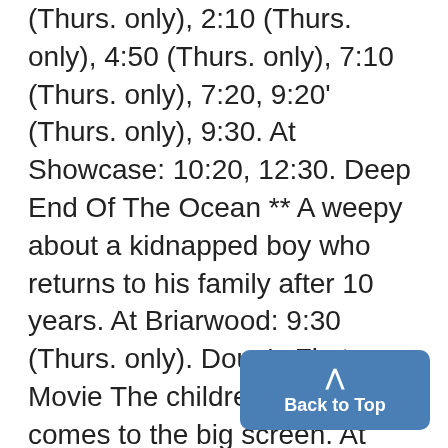(Thurs. only), 2:10 (Thurs. only), 4:50 (Thurs. only), 7:10 (Thurs. only), 7:20, 9:20' (Thurs. only), 9:30. At Showcase: 10:20, 12:30. Deep End Of The Ocean ** A weepy about a kidnapped boy who returns to his family after 10 years. At Briarwood: 9:30 (Thurs. only). Doug's First Movie The children's TV show comes to the big screen. At Briarwood: 12:10, 2:10, 4:10, 6:40, 9. At Showcase: 12:45, 2:50, 4:50, 6:50, 8:45. EDtv *** The un-Truman film about...